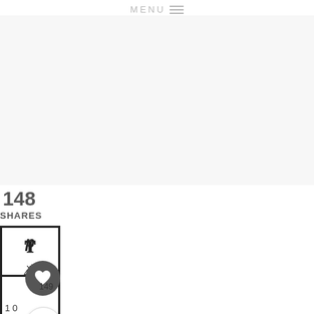MENU ☰
[Figure (screenshot): Light gray rectangular content area placeholder]
148
SHARES
[Figure (infographic): Pinterest share button box with P icon and count 42]
[Figure (infographic): Heart/like circle button (dark gray) overlapping Facebook share box showing count 10 and 149]
[Figure (infographic): Share circle button overlapping third social share box]
[Figure (infographic): WHAT'S NEXT → DIY Poster Hangers –... with thumbnail image]
[Figure (logo): WWP logo in gray at bottom right]
[Figure (photo): Bottom photo strip showing person in red/orange]
[Figure (infographic): Advertisement bar: Infinity Loop logo, checkmark, In-store shopping text, blue diamond direction sign, WWP logo]